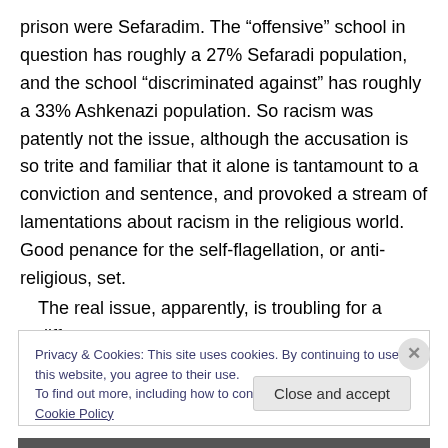prison were Sefaradim. The “offensive” school in question has roughly a 27% Sefaradi population, and the school “discriminated against” has roughly a 33% Ashkenazi population. So racism was patently not the issue, although the accusation is so trite and familiar that it alone is tantamount to a conviction and sentence, and provoked a stream of lamentations about racism in the religious world. Good penance for the self-flagellation, or anti-religious, set.
The real issue, apparently, is troubling for a different
Privacy & Cookies: This site uses cookies. By continuing to use this website, you agree to their use.
To find out more, including how to control cookies, see here: Cookie Policy